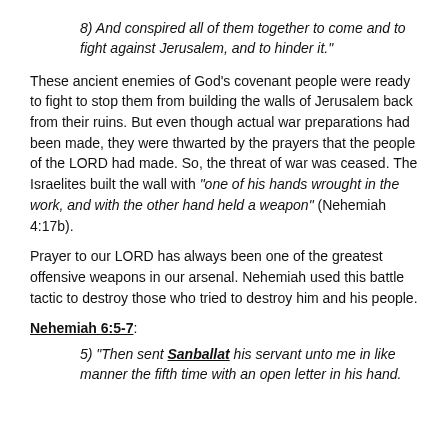8) And conspired all of them together to come and to fight against Jerusalem, and to hinder it."
These ancient enemies of God's covenant people were ready to fight to stop them from building the walls of Jerusalem back from their ruins. But even though actual war preparations had been made, they were thwarted by the prayers that the people of the LORD had made. So, the threat of war was ceased. The Israelites built the wall with “one of his hands wrought in the work, and with the other hand held a weapon” (Nehemiah 4:17b).
Prayer to our LORD has always been one of the greatest offensive weapons in our arsenal. Nehemiah used this battle tactic to destroy those who tried to destroy him and his people.
Nehemiah 6:5-7:
5) “Then sent Sanballat his servant unto me in like manner the fifth time with an open letter in his hand.